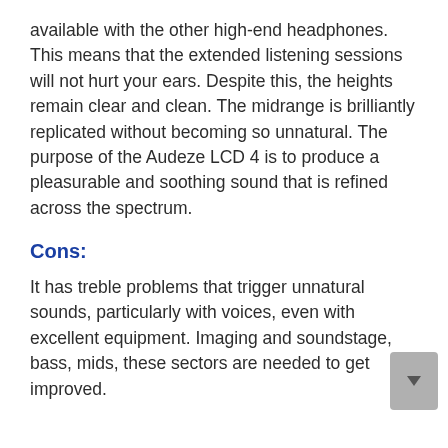available with the other high-end headphones. This means that the extended listening sessions will not hurt your ears. Despite this, the heights remain clear and clean. The midrange is brilliantly replicated without becoming so unnatural. The purpose of the Audeze LCD 4 is to produce a pleasurable and soothing sound that is refined across the spectrum.
Cons:
It has treble problems that trigger unnatural sounds, particularly with voices, even with excellent equipment. Imaging and soundstage, bass, mids, these sectors are needed to get improved.